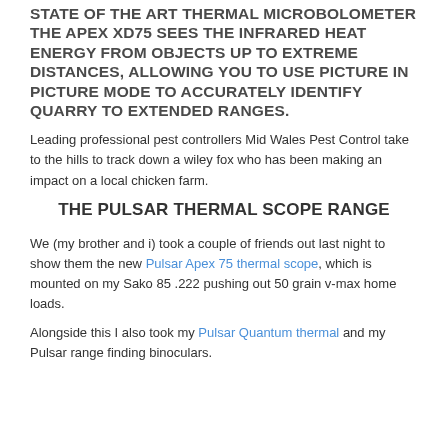STATE OF THE ART THERMAL MICROBOLOMETER THE APEX XD75 SEES THE INFRARED HEAT ENERGY FROM OBJECTS UP TO EXTREME DISTANCES, ALLOWING YOU TO USE PICTURE IN PICTURE MODE TO ACCURATELY IDENTIFY QUARRY TO EXTENDED RANGES.
Leading professional pest controllers Mid Wales Pest Control take to the hills to track down a wiley fox who has been making an impact on a local chicken farm.
THE PULSAR THERMAL SCOPE RANGE
We (my brother and i) took a couple of friends out last night to show them the new Pulsar Apex 75 thermal scope, which is mounted on my Sako 85 .222 pushing out 50 grain v-max home loads.
Alongside this I also took my Pulsar Quantum thermal and my Pulsar range finding binoculars.